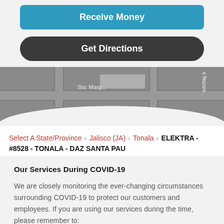Receive Money
Get Directions
[Figure (screenshot): Partial map view showing street names including Sta. Marg... and Nazare...]
Select A State/Province > Jalisco (JA) > Tonala > ELEKTRA - #8528 - TONALA - DAZ SANTA PAU
Our Services During COVID-19
We are closely monitoring the ever-changing circumstances surrounding COVID-19 to protect our customers and employees. If you are using our services during the time, please remember to: